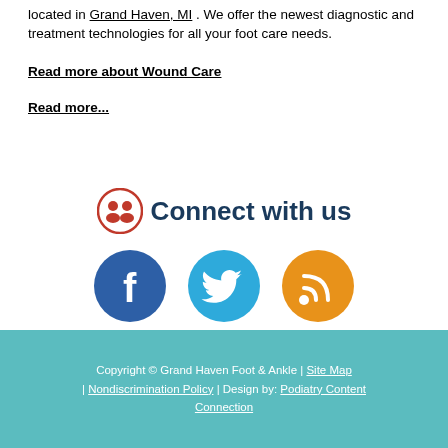located in Grand Haven, MI . We offer the newest diagnostic and treatment technologies for all your foot care needs.
Read more about Wound Care
Read more...
[Figure (infographic): Connect with us section with a social group icon and three social media circles: Facebook (blue), Twitter (light blue), RSS (orange)]
Copyright © Grand Haven Foot & Ankle | Site Map | Nondiscrimination Policy | Design by: Podiatry Content Connection